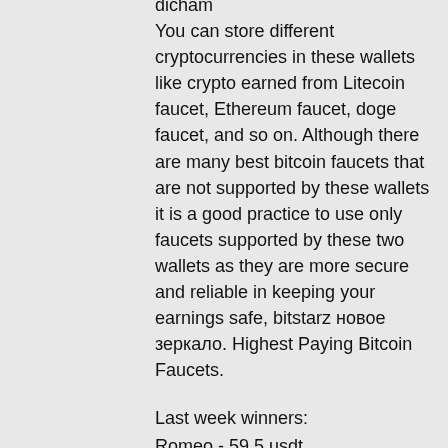dicham You can store different cryptocurrencies in these wallets like crypto earned from Litecoin faucet, Ethereum faucet, doge faucet, and so on. Although there are many best bitcoin faucets that are not supported by these wallets it is a good practice to use only faucets supported by these two wallets as they are more secure and reliable in keeping your earnings safe, bitstarz новое зеркало. Highest Paying Bitcoin Faucets.
Last week winners:
Romeo - 59.5 usdt
Enchanted - 569.3 eth
Genies Touch - 716.4 dog
Klassik - 335.3 dog
Crazy Goose - 589.2 dog
Kobushi - 64.8 btc
Piggy Bank - 234.5 usdt
Queen of Atlantis - 629.1 btc